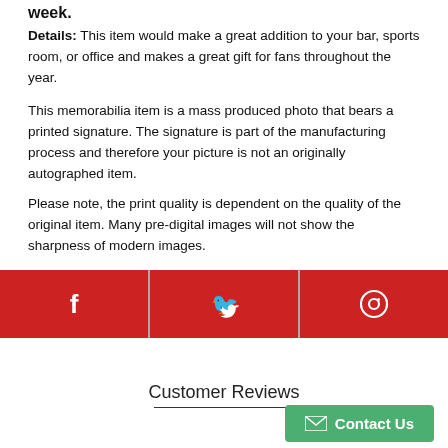week.
Details: This item would make a great addition to your bar, sports room, or office and makes a great gift for fans throughout the year.
This memorabilia item is a mass produced photo that bears a printed signature. The signature is part of the manufacturing process and therefore your picture is not an originally autographed item.
Please note, the print quality is dependent on the quality of the original item. Many pre-digital images will not show the sharpness of modern images.
[Figure (infographic): Red social media sharing bar with Facebook, Twitter, and Pinterest icons in white on red background]
Customer Reviews
[Figure (other): Green Contact Us button with envelope icon in bottom right corner]